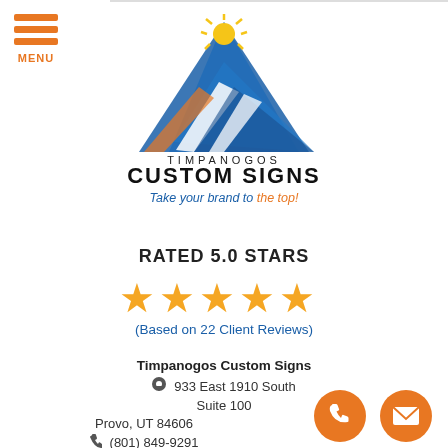[Figure (logo): Timpanogos Custom Signs logo with mountain and sunburst graphic, company name, and tagline 'Take your brand to the top!']
RATED 5.0 STARS
[Figure (illustration): Five gold/orange star rating icons]
(Based on 22 Client Reviews)
Timpanogos Custom Signs
933 East 1910 South
Suite 100
Provo, UT 84606
(801) 849-9291